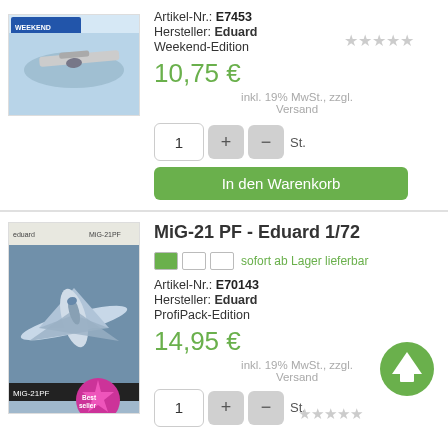Artikel-Nr.: E7453
Hersteller: Eduard
Weekend-Edition
10,75 €
inkl. 19% MwSt., zzgl. Versand
In den Warenkorb
MiG-21 PF - Eduard 1/72
sofort ab Lager lieferbar
Artikel-Nr.: E70143
Hersteller: Eduard
ProfiPack-Edition
14,95 €
inkl. 19% MwSt., zzgl. Versand